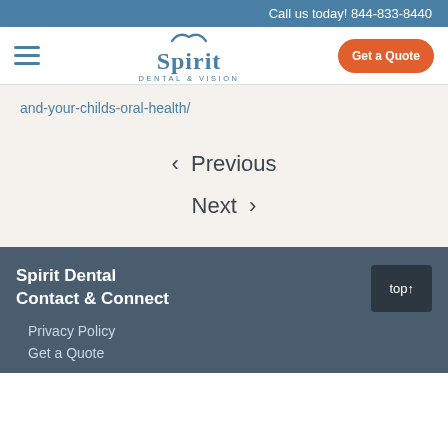Call us today! 844-833-8440
[Figure (logo): Spirit Dental & Vision logo with bird icon and Get a Quote button]
and-your-childs-oral-health/
< Previous
Next >
Spirit Dental
Contact & Connect
Privacy Policy
Get a Quote